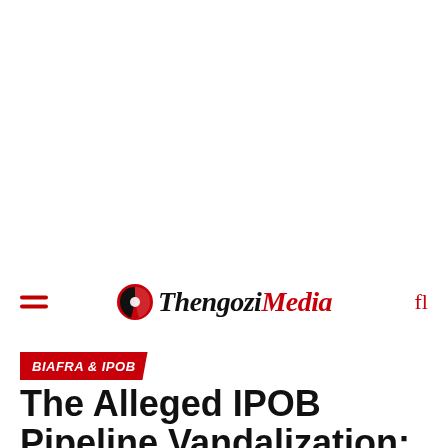ThengoziMedia
BIAFRA & IPOB
The Alleged IPOB Pipeline Vandalization: Western Allies